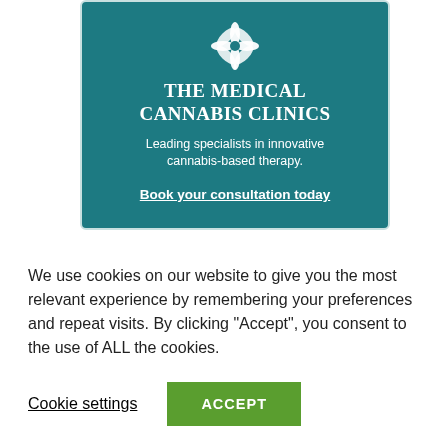[Figure (logo): The Medical Cannabis Clinics advertisement banner with teal background, flower/snowflake logo, clinic name, tagline, and book consultation link]
Recent Articles
We use cookies on our website to give you the most relevant experience by remembering your preferences and repeat visits. By clicking “Accept”, you consent to the use of ALL the cookies.
Cookie settings  ACCEPT